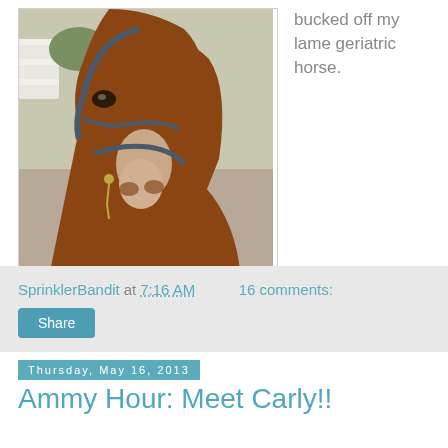[Figure (photo): Close-up photo of a chestnut horse wearing a bridle, facing the camera in an outdoor arena setting with white fence visible in background]
The rascally rapscallion!
bucked off my lame geriatric horse.
SprinklerBandit at 7:16 AM   16 comments:
Share
Thursday, May 16, 2013
Ammy Hour: Meet Carly!!